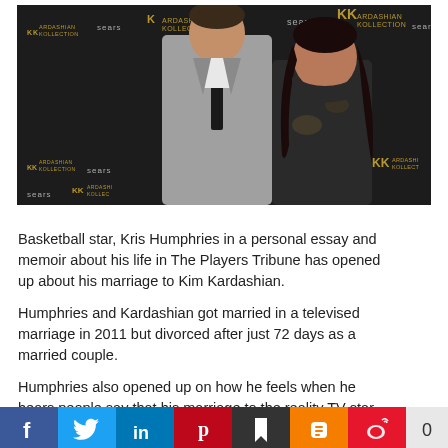[Figure (photo): Kris Humphries in a gray suit with a black tie standing next to Kim Kardashian in a floral dress, posing in front of a Kardashian Kollection / Sears branded backdrop]
Basketball star, Kris Humphries in a personal essay and memoir about his life in The Players Tribune has opened up about his marriage to Kim Kardashian.
Humphries and Kardashian got married in a televised marriage in 2011 but divorced after just 72 days as a married couple.
Humphries also opened up on how he feels when he hears people say that his marriage to the reality TV star was fake. He said,
Social sharing bar: Facebook, Twitter, LinkedIn, Pinterest, Bookmark, Blogger, Weibo, 0